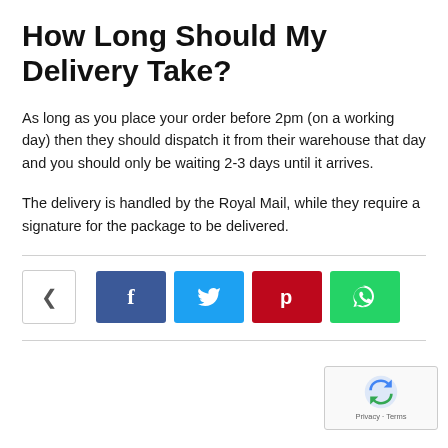How Long Should My Delivery Take?
As long as you place your order before 2pm (on a working day) then they should dispatch it from their warehouse that day and you should only be waiting 2-3 days until it arrives.
The delivery is handled by the Royal Mail, while they require a signature for the package to be delivered.
[Figure (infographic): Social sharing bar with share toggle icon, Facebook (blue), Twitter (cyan), Pinterest (red), and WhatsApp (green) buttons]
[Figure (logo): reCAPTCHA widget with spinning arrows logo and Privacy · Terms text]